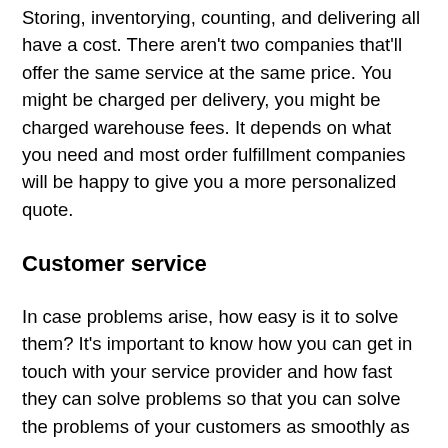Storing, inventorying, counting, and delivering all have a cost. There aren't two companies that'll offer the same service at the same price. You might be charged per delivery, you might be charged warehouse fees. It depends on what you need and most order fulfillment companies will be happy to give you a more personalized quote.
Customer service
In case problems arise, how easy is it to solve them? It's important to know how you can get in touch with your service provider and how fast they can solve problems so that you can solve the problems of your customers as smoothly as